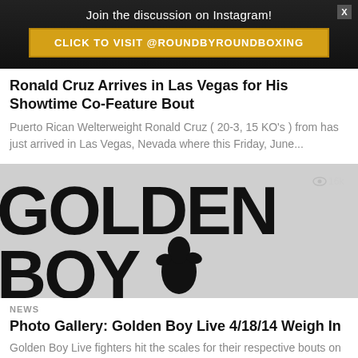[Figure (infographic): Dark banner with 'Join the discussion on Instagram!' text and a gold button 'CLICK TO VISIT @ROUNDBYROUNDBOXING' with an X close button]
Ronald Cruz Arrives in Las Vegas for His Showtime Co-Feature Bout
Puerto Rican Welterweight Ronald Cruz ( 20-3, 15 KO's ) from has just arrived in Las Vegas, Nevada where this Friday, June...
[Figure (photo): Golden Boy logo image – large black bold letters 'GOLDEN' on top and 'BOY' on bottom with a boxer silhouette in the middle, on a light gray background. A view count of 16k is shown in the top right.]
NEWS
Photo Gallery: Golden Boy Live 4/18/14 Weigh In
Golden Boy Live fighters hit the scales for their respective bouts on Friday, April 18, 2014.